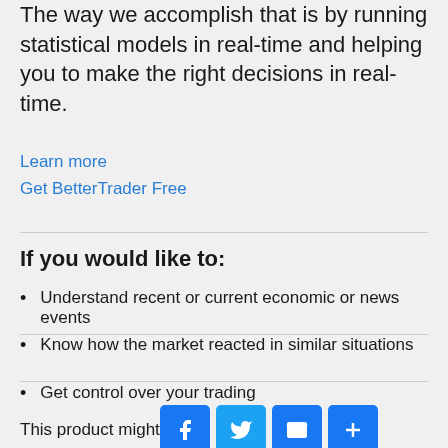The way we accomplish that is by running statistical models in real-time and helping you to make the right decisions in real-time.
Learn more
Get BetterTrader Free
If you would like to:
Understand recent or current economic or news events
Know how the market reacted in similar situations
Get control over your trading
This product might o u.